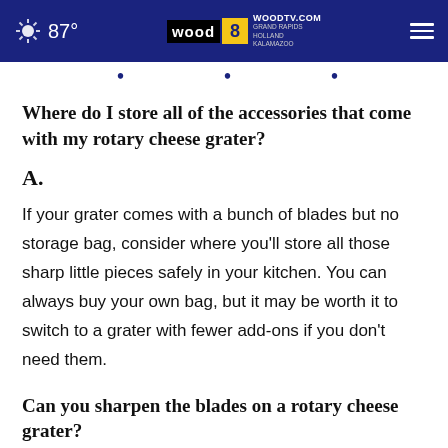87° WOODTV.COM WOOD 8 GRAND RAPIDS HOLLAND KALAMAZOO
Where do I store all of the accessories that come with my rotary cheese grater?
A.
If your grater comes with a bunch of blades but no storage bag, consider where you'll store all those sharp little pieces safely in your kitchen. You can always buy your own bag, but it may be worth it to switch to a grater with fewer add-ons if you don't need them.
Can you sharpen the blades on a rotary cheese grater?